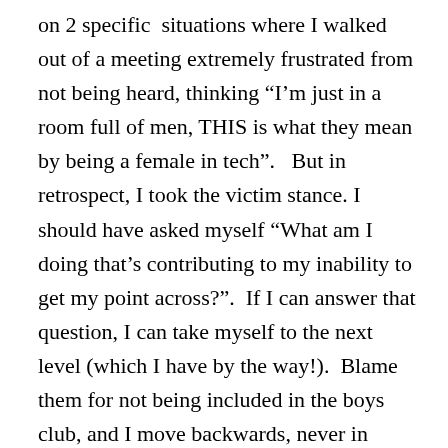on 2 specific situations where I walked out of a meeting extremely frustrated from not being heard, thinking “I’m just in a room full of men, THIS is what they mean by being a female in tech”.   But in retrospect, I took the victim stance. I should have asked myself “What am I doing that’s contributing to my inability to get my point across?”.  If I can answer that question, I can take myself to the next level (which I have by the way!).  Blame them for not being included in the boys club, and I move backwards, never in control of my own destiny.
I’m not saying that prejudice and bias don’t happen.  They do.  And they did in both of those meetings where I was frustrated. But the only way I can change what the